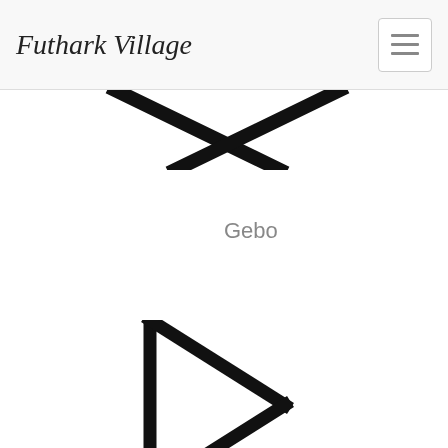Futhark Village
[Figure (illustration): Gebo rune symbol (X shape, two diagonal crossing lines) partially visible at top of page]
Gebo
[Figure (illustration): Wunjo rune symbol (flag/pennant shape with vertical staff and triangular point to the right)]
Wunjo
[Figure (illustration): Hagalaz rune symbol (two vertical lines connected by a diagonal line) partially visible at bottom of page]